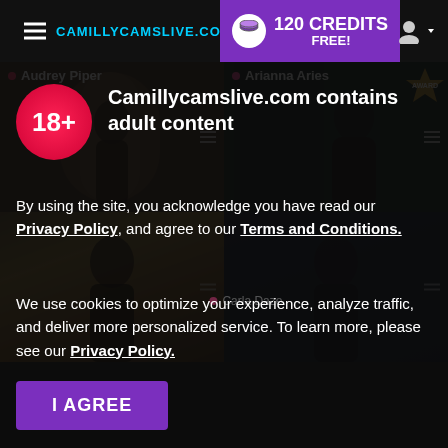CAMILLYCAMSLIVE.COM — 120 CREDITS FREE!
[Figure (screenshot): Two webcam thumbnails: left shows 'Audrey Piper' in an arched hallway setting, right shows 'Arianna Aries' against a curtain backdrop. Below, darker cam thumbnails partially visible including 'Carla Daze'.]
18+
Camillycamslive.com contains adult content
By using the site, you acknowledge you have read our Privacy Policy, and agree to our Terms and Conditions.
We use cookies to optimize your experience, analyze traffic, and deliver more personalized service. To learn more, please see our Privacy Policy.
I AGREE